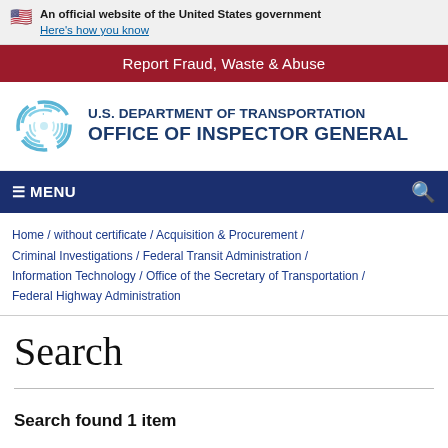An official website of the United States government
Here's how you know
Report Fraud, Waste & Abuse
[Figure (logo): U.S. Department of Transportation Office of Inspector General logo with swirl graphic]
U.S. DEPARTMENT OF TRANSPORTATION OFFICE OF INSPECTOR GENERAL
≡ MENU
Home / without certificate / Acquisition & Procurement / Criminal Investigations / Federal Transit Administration / Information Technology / Office of the Secretary of Transportation / Federal Highway Administration
Search
Search found 1 item